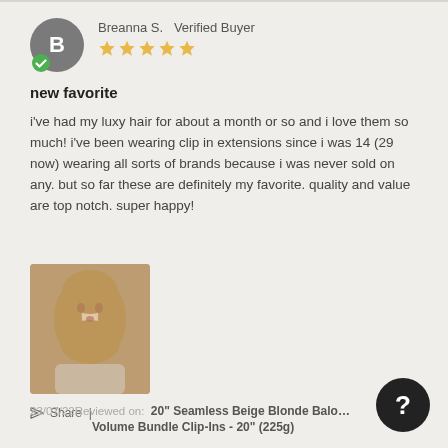Breanna S.  Verified Buyer
[Figure (illustration): 5 gold/yellow star rating icons]
new favorite
i've had my luxy hair for about a month or so and i love them so much! i've been wearing clip in extensions since i was 14 (29 now) wearing all sorts of brands because i was never sold on any. but so far these are definitely my favorite. quality and value are top notch. super happy!
[Figure (photo): Photo of a blonde woman with wavy hair]
Share  |
23/07/22  Reviewed on:  20" Seamless Beige Blonde Balo... Volume Bundle Clip-Ins - 20" (225g)